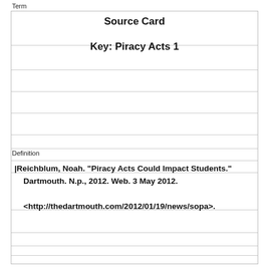Term
Source Card
Key: Piracy Acts 1
Definition
|Reichblum, Noah. "Piracy Acts Could Impact Students." Dartmouth. N.p., 2012. Web. 3 May 2012. <http://thedartmouth.com/2012/01/19/news/sopa>.